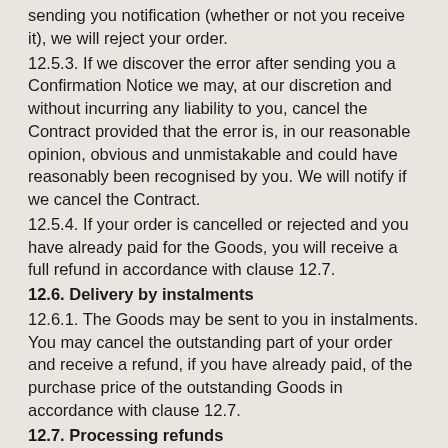sending you notification (whether or not you receive it), we will reject your order.
12.5.3. If we discover the error after sending you a Confirmation Notice we may, at our discretion and without incurring any liability to you, cancel the Contract provided that the error is, in our reasonable opinion, obvious and unmistakable and could have reasonably been recognised by you. We will notify if we cancel the Contract.
12.5.4. If your order is cancelled or rejected and you have already paid for the Goods, you will receive a full refund in accordance with clause 12.7.
12.6. Delivery by instalments
12.6.1. The Goods may be sent to you in instalments. You may cancel the outstanding part of your order and receive a refund, if you have already paid, of the purchase price of the outstanding Goods in accordance with clause 12.7.
12.7. Processing refunds
12.7.1. We will examine any returned Goods and will notify you about your refund or replacement item via email within a reasonable period of time. We will usually process a refund or delivery of a replacement item as soon as possible and, in any case, within 30 days of the day we confirmed to you via email that your entitlement to a refund will be assessed or it